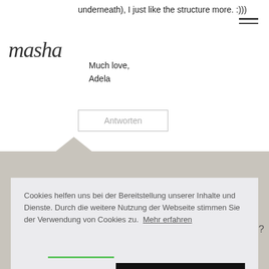underneath), I just like the structure more. :)))
[Figure (logo): Handwritten script logo reading 'masha' or similar cursive text]
Much love,
Adela
Antworten
[Figure (screenshot): Cookie consent overlay with text: Cookies helfen uns bei der Bereitstellung unserer Inhalte und Dienste. Durch die weitere Nutzung der Webseite stimmen Sie der Verwendung von Cookies zu. Mehr erfahren. Buttons: Cookies ablehnen, Cookies erlauben]